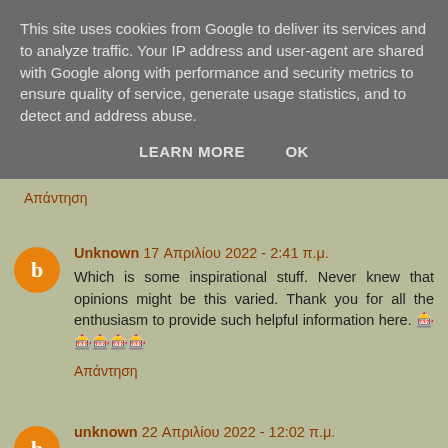This site uses cookies from Google to deliver its services and to analyze traffic. Your IP address and user-agent are shared with Google along with performance and security metrics to ensure quality of service, generate usage statistics, and to detect and address abuse.
LEARN MORE    OK
Απάντηση
Unknown 17 Απριλίου 2022 - 2:41 π.μ.
Which is some inspirational stuff. Never knew that opinions might be this varied. Thank you for all the enthusiasm to provide such helpful information here. 🎰🎰🎰🎰🎰
Απάντηση
unknown 22 Απριλίου 2022 - 12:02 π.μ.
Royalcasino283